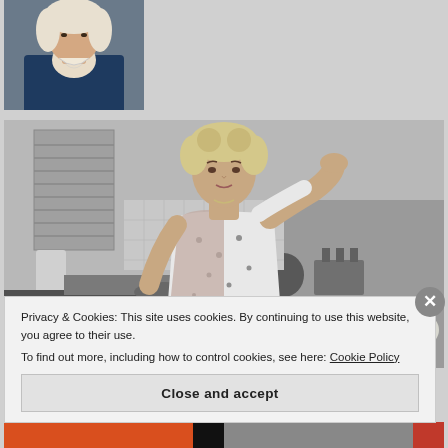[Figure (photo): Portrait of a person in historical attire with white wig/collar, partially visible at top left of page]
[Figure (photo): Black and white vintage photograph of a 1950s housewife in an apron in a kitchen, hand raised to forehead in a tired/exasperated pose]
Privacy & Cookies: This site uses cookies. By continuing to use this website, you agree to their use.
To find out more, including how to control cookies, see here: Cookie Policy
Close and accept